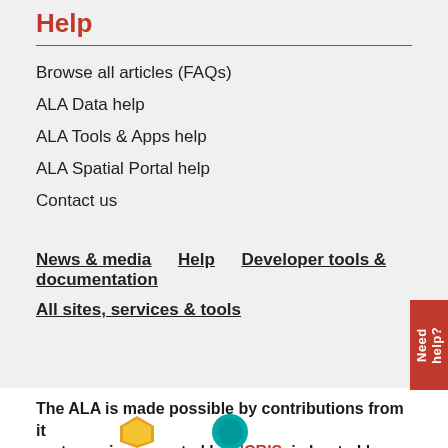Help
Browse all articles (FAQs)
ALA Data help
ALA Tools & Apps help
ALA Spatial Portal help
Contact us
News & media    Help    Developer tools & documentation
All sites, services & tools
The ALA is made possible by contributions from its partners, is supported by NCRIS, is hosted by CSIRO, and is the Australian node of GBIF.
[Figure (logo): NCRIS and CSIRO/GBIF logos at bottom of page]